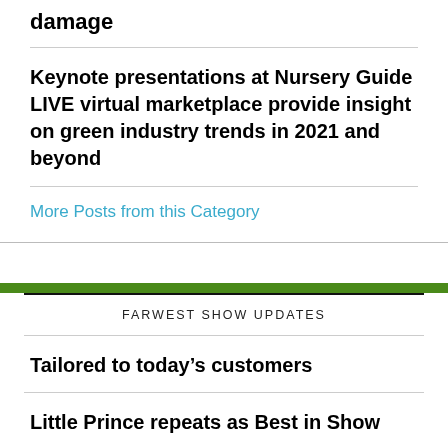damage
Keynote presentations at Nursery Guide LIVE virtual marketplace provide insight on green industry trends in 2021 and beyond
More Posts from this Category
FARWEST SHOW UPDATES
Tailored to today’s customers
Little Prince repeats as Best in Show